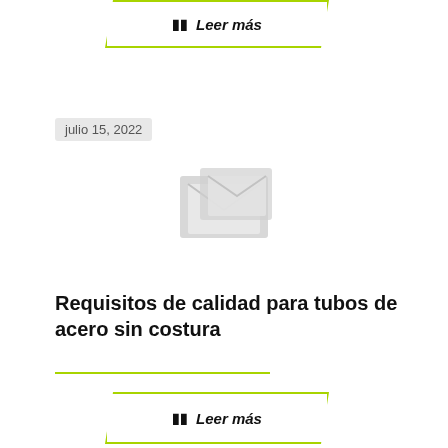# Leer más
julio 15, 2022
[Figure (illustration): Placeholder image icon showing a broken/missing image symbol in light gray]
Requisitos de calidad para tubos de acero sin costura
# Leer más